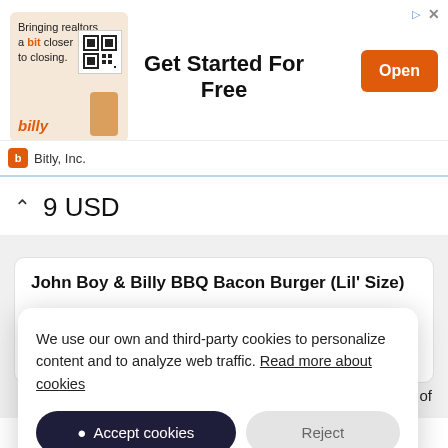[Figure (screenshot): Advertisement banner for Bitly Inc. showing 'Bringing realtors a bit closer to closing.' with QR code, 'Get Started For Free' headline, and orange 'Open' button. Bottom row shows Bitly logo and 'Bitly, Inc.' text.]
9 USD
John Boy & Billy BBQ Bacon Burger (Lil' Size)
Topped with your choice of American, provolone, or pepper Jack cheese, mustard, chili, bacon, a crispy onion ring and tangy John Boy and Billy’s grillin’ sauce.
We use our own and third-party cookies to personalize content and to analyze web traffic. Read more about cookies
Accept cookies
Reject
e of
American, provolone, or pepper Jack cheese, mustard,